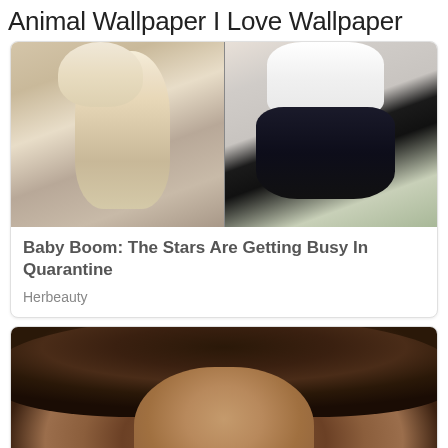Animal Wallpaper I Love Wallpaper
[Figure (photo): Two celebrity photos side by side showing pregnant women outdoors]
Baby Boom: The Stars Are Getting Busy In Quarantine
Herbeauty
[Figure (photo): Close-up portrait of a woman with curly dark brown hair]